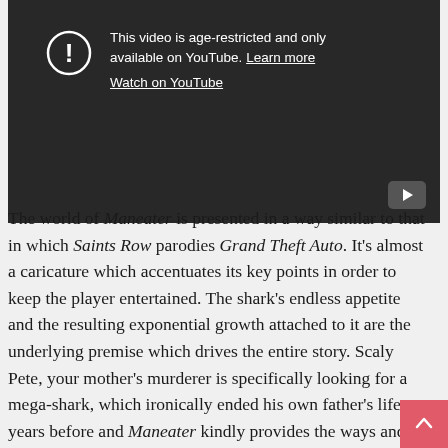[Figure (screenshot): An embedded YouTube video player showing an age-restriction warning. The player has a dark background with a warning icon (circle with exclamation mark) on the left, and text reading 'This video is age-restricted and only available on YouTube. Learn more' and 'Watch on YouTube'. A YouTube play button icon is visible in the bottom-right corner.]
The world of Maneater is presented in a way similar to that in which Saints Row parodies Grand Theft Auto. It's almost a caricature which accentuates its key points in order to keep the player entertained. The shark's endless appetite and the resulting exponential growth attached to it are the underlying premise which drives the entire story. Scaly Pete, your mother's murderer is specifically looking for a mega-shark, which ironically ended his own father's life years before and Maneater kindly provides the ways and means through which your tiny chomper can achieve that status before a